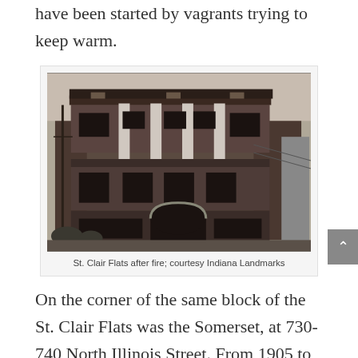have been started by vagrants trying to keep warm.
[Figure (photo): Black and white photograph of St. Clair Flats building after fire, showing a multi-story brick building with columns, boarded windows, and arched entrance, in a state of disrepair.]
St. Clair Flats after fire; courtesy Indiana Landmarks
On the corner of the same block of the St. Clair Flats was the Somerset, at 730-740 North Illinois Street. From 1905 to 1920 it was called